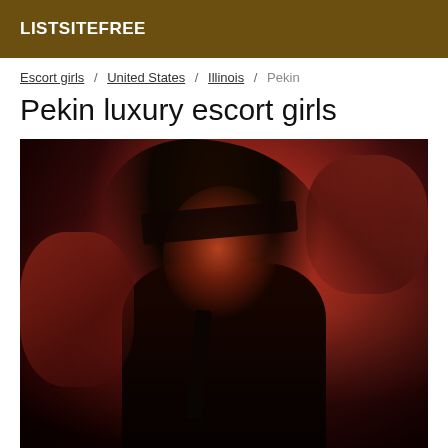LISTSITEFREE
Escort girls / United States / Illinois / Pekin
Pekin luxury escort girls
[Figure (photo): A woman with dark hair under red lighting, wearing a blindfold, photographed from a low angle in a dark, moody setting.]